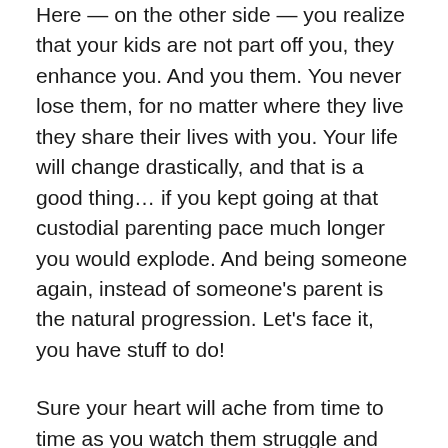Here — on the other side — you realize that your kids are not part off you, they enhance you. And you them. You never lose them, for no matter where they live they share their lives with you. Your life will change drastically, and that is a good thing… if you kept going at that custodial parenting pace much longer you would explode. And being someone again, instead of someone's parent is the natural progression. Let's face it, you have stuff to do!
Sure your heart will ache from time to time as you watch them struggle and grow, but it is a good ache. It is the physical manifestation of how much you love them. Just like when they were little, they will most certainly fall. The hard part is not trying to fix it for them when they do.
But most of all, parental obsolescence is simply a contradiction in terms. They will always need you, just differently. It's all good.